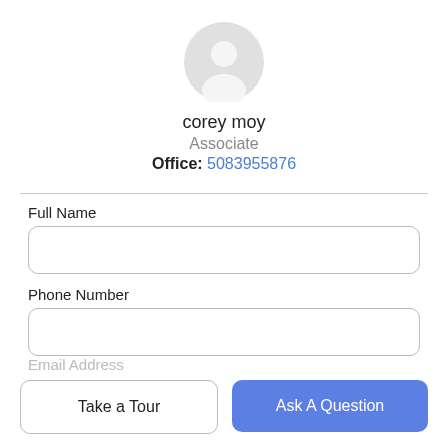[Figure (illustration): Generic user avatar icon: gray circle with white inner circle and gray torso silhouette]
corey moy
Associate
Office: 5083955876
Full Name
Phone Number
Email Address
Take a Tour
Ask A Question